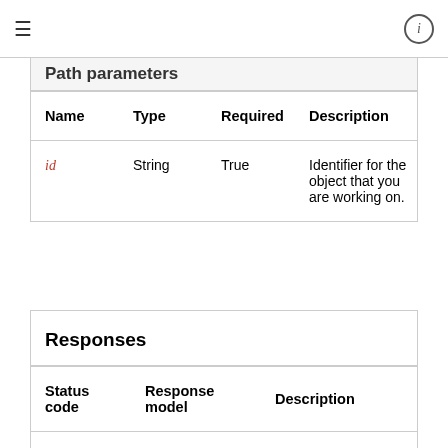≡   ⓘ
Path parameters
| Name | Type | Required | Description |
| --- | --- | --- | --- |
| id | String | True | Identifier for the object that you are working on. |
| Status code | Response model | Description |
| --- | --- | --- |
| 200 | Channel | 200 OK response |